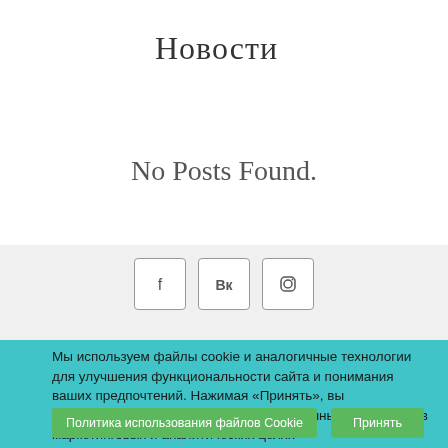Новости
No Posts Found.
[Figure (other): Social media icons: Facebook (f), VKontakte (Vk), Instagram, each in a rounded square border]
Мы используем файлы cookie и аналогичные технологии для улучшения функциональности сайта и понимания ваших предпочтений. Нажимая «Принять», вы соглашаетесь с использованием нами данных технологий в маркетинговых и аналитических целях
Политика использования файлов Cookie
Принять